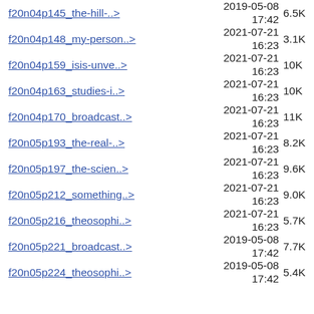f20n04p145_the-hill-..>  2019-05-08 17:42  6.5K
f20n04p148_my-person..>  2021-07-21 16:23  3.1K
f20n04p159_isis-unve..>  2021-07-21 16:23  10K
f20n04p163_studies-i..>  2021-07-21 16:23  10K
f20n04p170_broadcast..>  2021-07-21 16:23  11K
f20n05p193_the-real-..>  2021-07-21 16:23  8.2K
f20n05p197_the-scien..>  2021-07-21 16:23  9.6K
f20n05p212_something..>  2021-07-21 16:23  9.0K
f20n05p216_theosophi..>  2021-07-21 16:23  5.7K
f20n05p221_broadcast..>  2019-05-08 17:42  7.7K
f20n05p224_theosophi..>  2019-05-08 17:42  5.4K